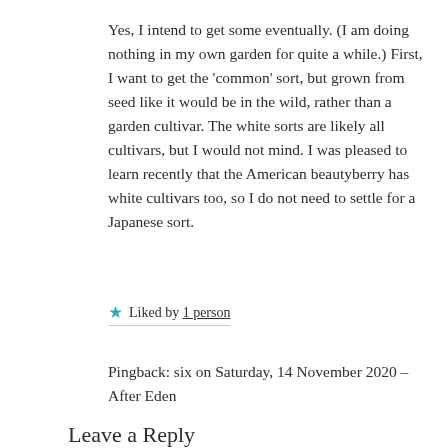Yes, I intend to get some eventually. (I am doing nothing in my own garden for quite a while.) First, I want to get the 'common' sort, but grown from seed like it would be in the wild, rather than a garden cultivar. The white sorts are likely all cultivars, but I would not mind. I was pleased to learn recently that the American beautyberry has white cultivars too, so I do not need to settle for a Japanese sort.
★ Liked by 1 person
Pingback: six on Saturday, 14 November 2020 – After Eden
Leave a Reply